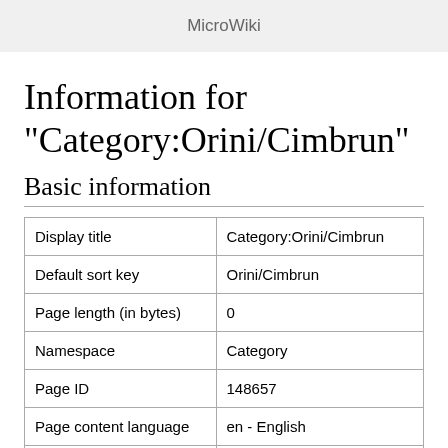MicroWiki
Information for "Category:Orini/Cimbrun"
Basic information
|  |  |
| --- | --- |
| Display title | Category:Orini/Cimbrun |
| Default sort key | Orini/Cimbrun |
| Page length (in bytes) | 0 |
| Namespace | Category |
| Page ID | 148657 |
| Page content language | en - English |
| Page content model | wikitext |